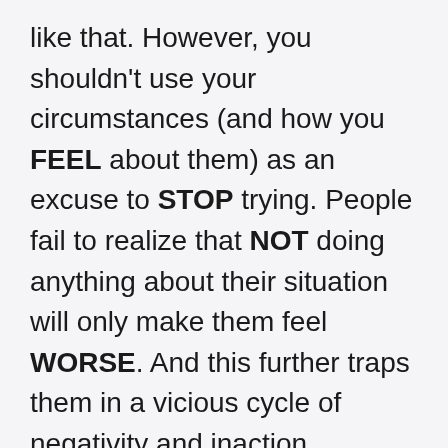like that. However, you shouldn't use your circumstances (and how you FEEL about them) as an excuse to STOP trying. People fail to realize that NOT doing anything about their situation will only make them feel WORSE. And this further traps them in a vicious cycle of negativity and inaction.
Thus, the Law of Attraction will help you install a more positive attitude in your consciousness which will change your vibration and the signal you send to the Universe. This keeps your mind from being overrun by negativity – and more importantly, give you the leverage to BREAK FREE from your situation.